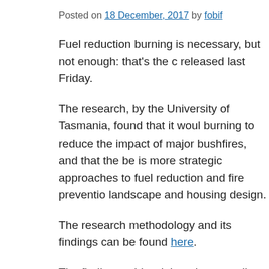Posted on 18 December, 2017 by fobif
Fuel reduction burning is necessary, but not enough: that's the c released last Friday.
The research, by the University of Tasmania, found that it woul burning to reduce the impact of major bushfires, and that the be is more strategic approaches to fuel reduction and fire preventio landscape and housing design.
The research methodology and its findings can be found here.
The findings add weight to longstanding arguments that putting basket, and burning huge areas of bushland, will not achieve the based prescribed-burning targets have little value without some risk-reduction framework.'
Professor David Bowman, co-leader of the research project, tol governments and fire authorities needed to consider taking a mo